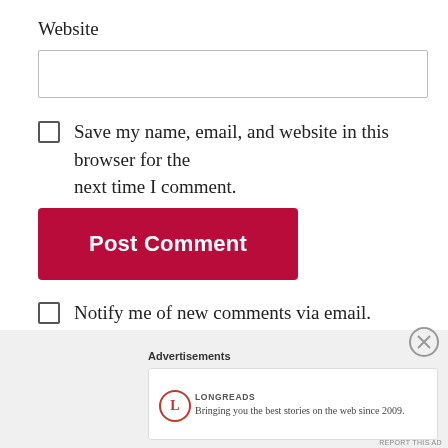Website
Save my name, email, and website in this browser for the next time I comment.
Post Comment
Notify me of new comments via email.
Notify me of new posts via email.
Advertisements
LONGREADS
Bringing you the best stories on the web since 2009.